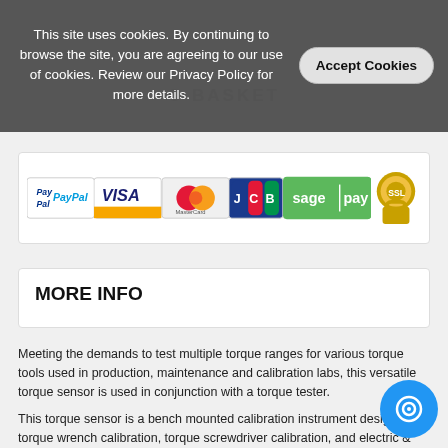This site uses cookies. By continuing to browse the site, you are agreeing to our use of cookies. Review our Privacy Policy for more details.
[Figure (infographic): Payment method logos: PayPal, VISA, MasterCard, JCB, Sage Pay, SSL secure padlock]
MORE INFO
Meeting the demands to test multiple torque ranges for various torque tools used in production, maintenance and calibration labs, this versatile torque sensor is used in conjunction with a torque tester.
This torque sensor is a bench mounted calibration instrument designed for torque wrench calibration, torque screwdriver calibration, and electric & pneumatic screwdriver calibration.